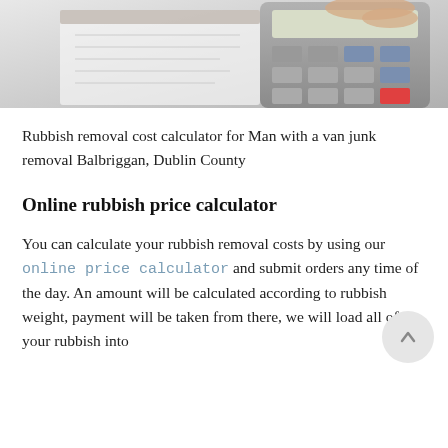[Figure (photo): A photo showing hands using a calculator on a desk with a notepad, close-up view from above.]
Rubbish removal cost calculator for Man with a van junk removal Balbriggan, Dublin County
Online rubbish price calculator
You can calculate your rubbish removal costs by using our online price calculator and submit orders any time of the day. An amount will be calculated according to rubbish weight, payment will be taken from there, we will load all of your rubbish into